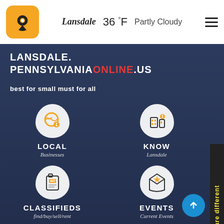[Figure (logo): Orange rounded square logo with map pin icon]
Lansdale   36 °F  Partly Cloudy
LANSDALE. PENNSYLVANIAONLINE.US best for small must for all
[Figure (illustration): LOCAL Businesses icon - globe with map pin]
[Figure (illustration): KNOW Lansdale icon - building with map pin]
[Figure (illustration): CLASSIFIEDS find/buy/sell/rent icon - ad clipboard]
[Figure (illustration): EVENTS Current Events icon - envelope with star]
[Figure (illustration): TRIBUTES OBITUARIES icon - heart with leaf]
[Figure (illustration): ADD BUSINESS get free business icon - person with tools]
We are different